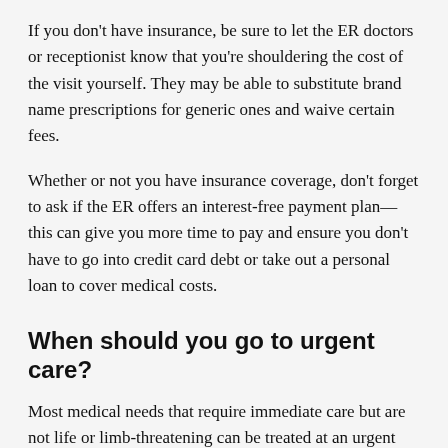If you don't have insurance, be sure to let the ER doctors or receptionist know that you're shouldering the cost of the visit yourself. They may be able to substitute brand name prescriptions for generic ones and waive certain fees.
Whether or not you have insurance coverage, don't forget to ask if the ER offers an interest-free payment plan—this can give you more time to pay and ensure you don't have to go into credit card debt or take out a personal loan to cover medical costs.
When should you go to urgent care?
Most medical needs that require immediate care but are not life or limb-threatening can be treated at an urgent care center. This is especially true if you've had a